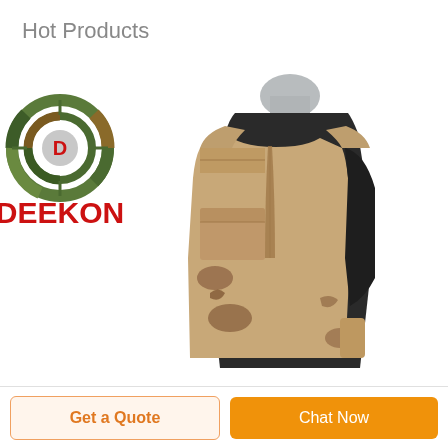Hot Products
[Figure (photo): A desert camouflage tactical/ballistic vest displayed on a dark mannequin torso against a white background, with the Deekon logo (camouflage target circle with red D, and red DEEKON text) visible in the upper left of the image.]
Get a Quote
Chat Now